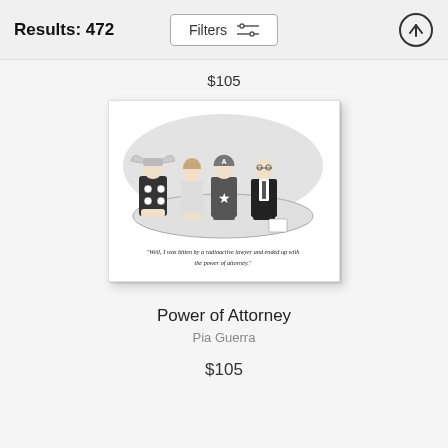Results: 472
Filters
$105
[Figure (illustration): A New Yorker-style cartoon showing four figures seated at a round table: a Thor-like superhero with winged helmet on the left, a woman, a Captain America-like superhero with star emblem, and a man in a suit. Caption reads: "Well, I was bitten by a radioactive lawyer and ended up with the power of attorney."]
Power of Attorney
Pia Guerra
$105